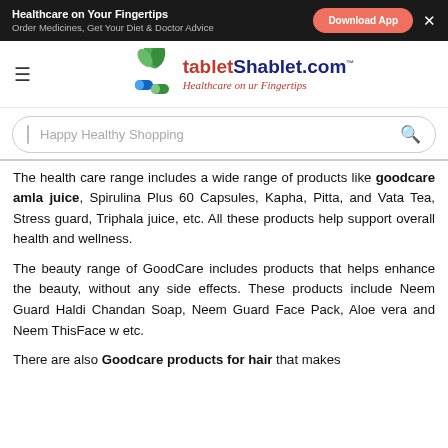Healthcare on Your Fingertips | Order Medicines, Get Your Diet & Doctor Advice | Download App
[Figure (logo): tabletShablet.com logo with green leaves and pills graphic, tagline: Healthcare on ur Fingertips]
Happy Healthy Shopping (search bar placeholder)
The health care range includes a wide range of products like goodcare amla juice, Spirulina Plus 60 Capsules, Kapha, Pitta, and Vata Tea, Stress guard, Triphala juice, etc. All these products help support overall health and wellness.
The beauty range of GoodCare includes products that helps enhance the beauty, without any side effects. These products include Neem Guard Haldi Chandan Soap, Neem Guard Face Pack, Aloe vera and Neem ThisFace w etc.
There are also Goodcare products for hair that makes